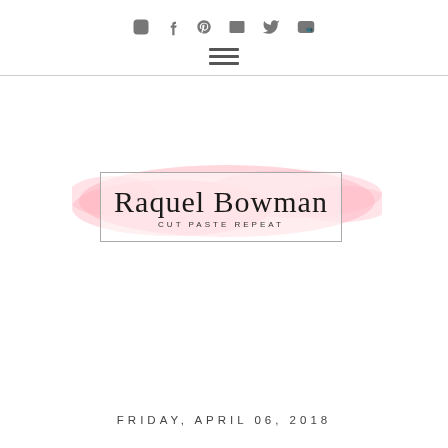Social icons: Instagram, Facebook, Pinterest, Email, Twitter, YouTube
[Figure (logo): Raquel Bowman Cut Paste Repeat blog logo with pink watercolor brush stroke background and border rectangle]
FRIDAY, APRIL 06, 2018